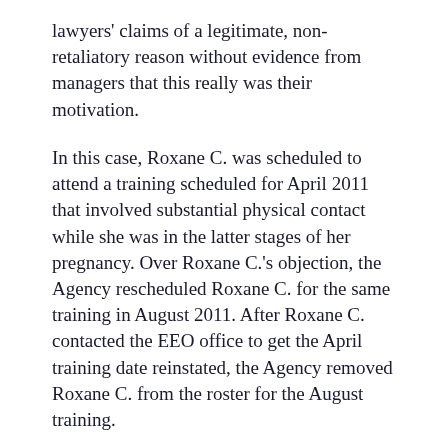lawyers' claims of a legitimate, non-retaliatory reason without evidence from managers that this really was their motivation.
In this case, Roxane C. was scheduled to attend a training scheduled for April 2011 that involved substantial physical contact while she was in the latter stages of her pregnancy. Over Roxane C.'s objection, the Agency rescheduled Roxane C. for the same training in August 2011. After Roxane C. contacted the EEO office to get the April training date reinstated, the Agency removed Roxane C. from the roster for the August training.
None of Roxane C.'s managers could explain why Roxane C. was removed from the August training roster. One manager asked for Roxane